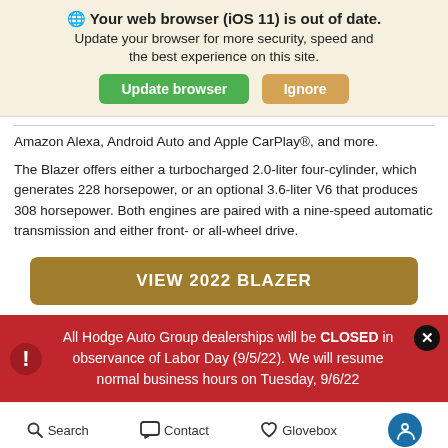[Figure (screenshot): Browser update notification banner with globe icon, bold text 'Your web browser (iOS 11) is out of date.', subtitle text, and two buttons: 'Update browser' (green) and 'Ignore' (tan/gold)]
Amazon Alexa, Android Auto and Apple CarPlay®, and more.
The Blazer offers either a turbocharged 2.0-liter four-cylinder, which generates 228 horsepower, or an optional 3.6-liter V6 that produces 308 horsepower. Both engines are paired with a nine-speed automatic transmission and either front- or all-wheel drive.
[Figure (screenshot): Gold/brown CTA button labeled 'VIEW 2022 BLAZER']
All Hodge Auto Group dealerships will be CLOSED in observance of Labor Day (9/5/22). We will resume normal business hours on Tuesday, 9/6/22
Search   Contact   Glovebox